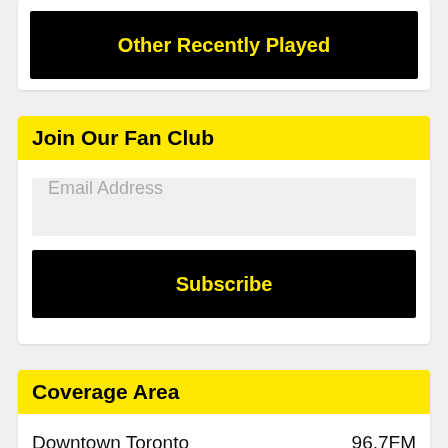Other Recently Played
Join Our Fan Club
Email Address
Subscribe
Coverage Area
Downtown Toronto  96.7FM
Toronto HD  96.3 HD-2